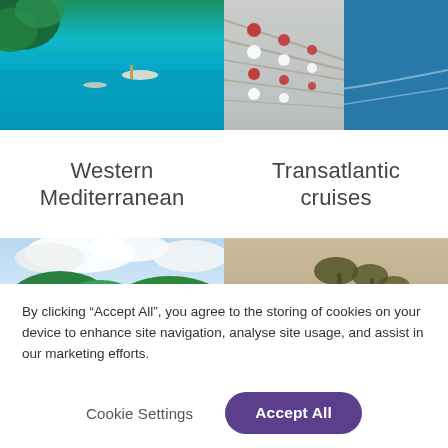[Figure (photo): Aerial view of turquoise blue sea with boats near green coastline - Western Mediterranean]
[Figure (photo): Aerial view of cruise ship deck alongside ocean - Transatlantic cruises]
Western Mediterranean
Transatlantic cruises
[Figure (photo): Tropical beach with turquoise water, white sand, and green hills under cloudy sky]
[Figure (photo): Misty tropical beach with palm trees in sepia/warm tones]
By clicking “Accept All”, you agree to the storing of cookies on your device to enhance site navigation, analyse site usage, and assist in our marketing efforts.
Cookie Settings
Accept All